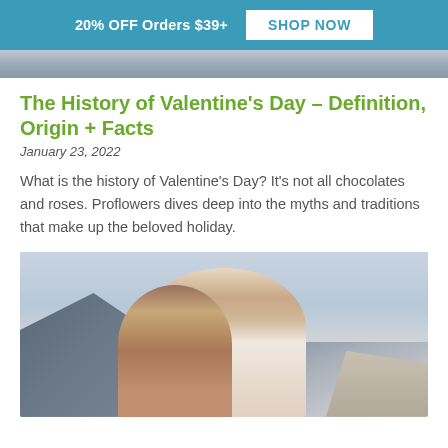20% OFF Orders $39+  SHOP NOW
[Figure (photo): Partial top strip of a photo showing a person outdoors]
The History of Valentine's Day – Definition, Origin + Facts
January 23, 2022
What is the history of Valentine's Day? It's not all chocolates and roses. Proflowers dives deep into the myths and traditions that make up the beloved holiday.
[Figure (photo): A couple embracing and kissing outdoors with mountains and cloudy sky in the background]